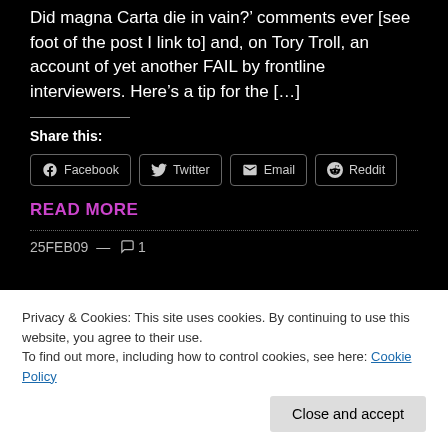Did magna Carta die in vain?' comments ever [see foot of the post I link to] and, on Tory Troll, an account of yet another FAIL by frontline interviewers. Here's a tip for the [...]
Share this:
Facebook  Twitter  Email  Reddit
READ MORE
25FEB09 — 1
Privacy & Cookies: This site uses cookies. By continuing to use this website, you agree to their use.
To find out more, including how to control cookies, see here: Cookie Policy
Close and accept
goodies. You are a star. I feel guilty writing so little lately